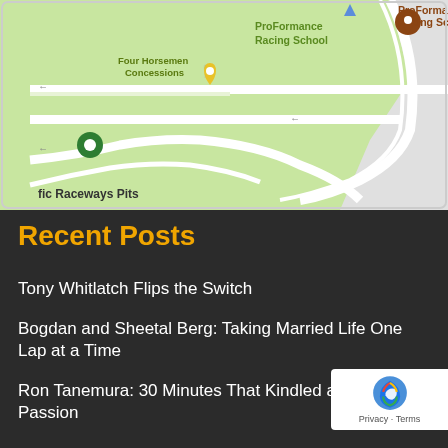[Figure (map): Google Maps screenshot showing Pacific Raceways area with ProFormance Racing School marker, Four Horsemen Concessions, Pacific Raceways Pits marker, and Pacific Raceways Road Course road label.]
Recent Posts
Tony Whitlatch Flips the Switch
Bogdan and Sheetal Berg: Taking Married Life One Lap at a Time
Ron Tanemura: 30 Minutes That Kindled a Racing Passion